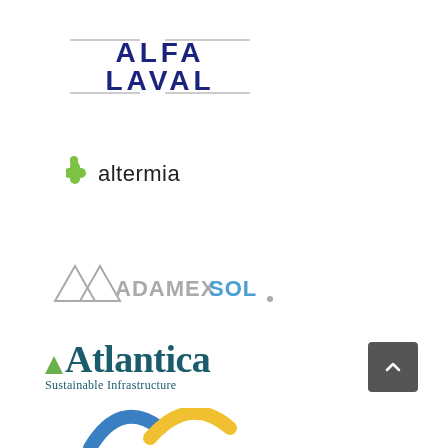[Figure (logo): Alfa Laval company logo — dark blue stylized text with horizontal lines]
[Figure (logo): Altermia logo — green leaf/cross icon with dark text 'altermia']
[Figure (logo): Adamexol logo — grey and blue stylized text with triangle shapes]
[Figure (logo): Atlantica Sustainable Infrastructure logo — teal serif text with small green triangle accent]
[Figure (logo): Partial logo at bottom — blue and yellow arc shapes, cropped]